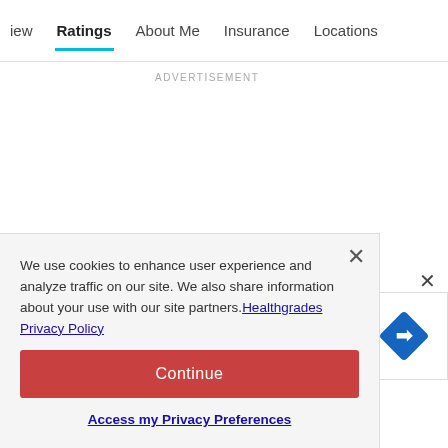iew  Ratings  About Me  Insurance  Locations
ADVERTISEMENT
We use cookies to enhance user experience and analyze traffic on our site. We also share information about your use with our site partners. Healthgrades Privacy Policy
Continue
Access my Privacy Preferences